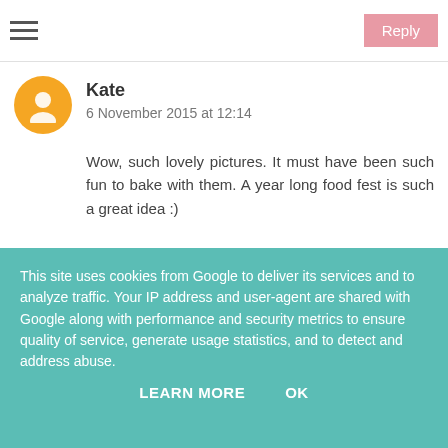Reply
Kate
6 November 2015 at 12:14
Wow, such lovely pictures. It must have been such fun to bake with them. A year long food fest is such a great idea :)
Reply
This site uses cookies from Google to deliver its services and to analyze traffic. Your IP address and user-agent are shared with Google along with performance and security metrics to ensure quality of service, generate usage statistics, and to detect and address abuse.
LEARN MORE   OK